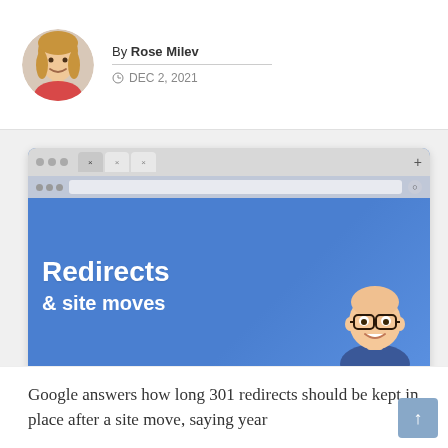By Rose Milev
DEC 2, 2021
[Figure (screenshot): Browser window screenshot showing a webpage with 'Redirects & site moves' banner with a cartoon character and #AskGooglebot overlay card]
Google answers how long 301 redirects should be kept in place after a site move, saying year